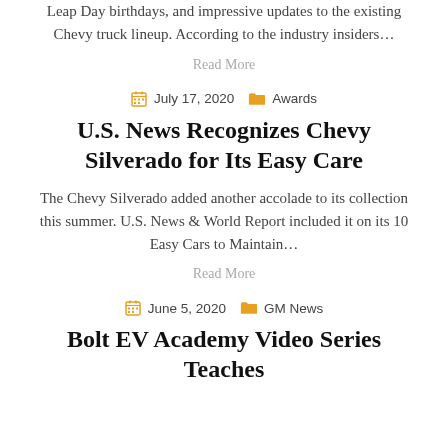Leap Day birthdays, and impressive updates to the existing Chevy truck lineup. According to the industry insiders...
Read More
July 17, 2020   Awards
U.S. News Recognizes Chevy Silverado for Its Easy Care
The Chevy Silverado added another accolade to its collection this summer. U.S. News & World Report included it on its 10 Easy Cars to Maintain...
Read More
June 5, 2020   GM News
Bolt EV Academy Video Series Teaches